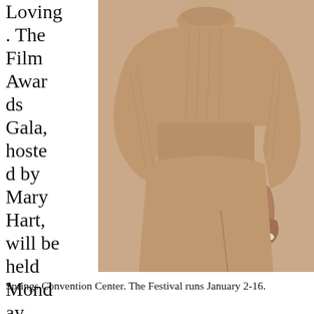Loving . The Film Awards Gala, hosted by Mary Hart, will be held Monday, January 2 at the Palm Springs Convention Center. The Festival runs January 2-16.
[Figure (photo): A woman wearing a beige/tan ribbed turtleneck sweater and matching wide-leg trousers, standing with one hand on her hip, photographed from the neck down against a warm beige background.]